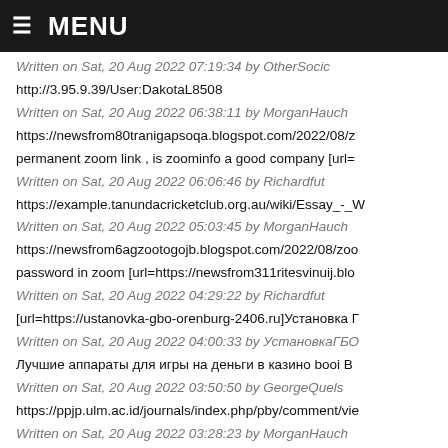≡ MENU
Written on Sat, 20 Aug 2022 07:19:34 by OtherSocic
http://3.95.9.39/User:DakotaL8508
Written on Sat, 20 Aug 2022 06:38:11 by MorganHauch
https://newsfrom80tranigapsoqa.blogspot.com/2022/08/z
permanent zoom link , is zoominfo a good company [url=
Written on Sat, 20 Aug 2022 06:06:46 by Richardfut
https://example.tanundacricketclub.org.au/wiki/Essay_-_W
Written on Sat, 20 Aug 2022 05:03:45 by MorganHauch
https://newsfrom6agzootogojb.blogspot.com/2022/08/zoo
password in zoom [url=https://newsfrom311ritesvinuij.blo
Written on Sat, 20 Aug 2022 04:29:22 by Richardfut
[url=https://ustanovka-gbo-orenburg-2406.ru]Установка Г
Written on Sat, 20 Aug 2022 04:00:33 by УстановкаГБО
Лучшие аппараты для игры на деньги в казино booi В
Written on Sat, 20 Aug 2022 03:50:50 by GeorgeQuels
https://ppjp.ulm.ac.id/journals/index.php/pby/comment/vie
Written on Sat, 20 Aug 2022 03:28:23 by MorganHauch
Подключение цифрового ТВ и домашнего интернета М
Written on Sat, 20 Aug 2022 03:02:31 by Camiekoacic
https://newsfrom656daeconpiherk.blogspot.com/2022/08/
https://newsfrom267mesricopenb.blogspot.com/2022/08/
zoom meeting with dial in number - how to set up zoom